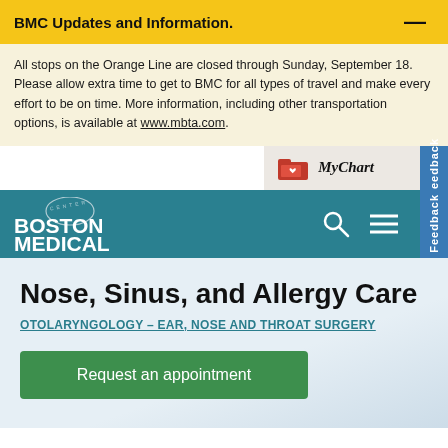BMC Updates and Information.
All stops on the Orange Line are closed through Sunday, September 18. Please allow extra time to get to BMC for all types of travel and make every effort to be on time. More information, including other transportation options, is available at www.mbta.com.
[Figure (logo): MyChart button with folder icon]
[Figure (logo): Boston Medical Center logo with teal navigation bar, search and menu icons, and Feedback tab]
Nose, Sinus, and Allergy Care
OTOLARYNGOLOGY – EAR, NOSE AND THROAT SURGERY
Request an appointment